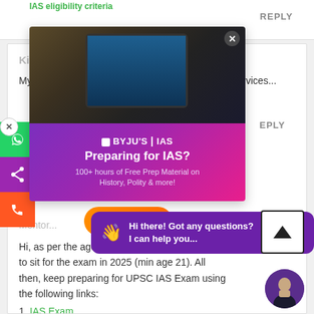REPLY
Kiran Th...
My date of birth is 21/12/2002. Can I appear civil services...
REPLY
[Figure (screenshot): BYJU'S IAS advertisement overlay showing a student using a tablet, with text 'Preparing for IAS? 100+ hours of Free Prep Material on History, Polity & more!' and a Register button]
Mentor...
Hi, as per the age re... to sit for the exam in 2025 (min age 21). All then, keep preparing for UPSC IAS Exam using the following links:
1. IAS Exam
2. NCERT Notes for UPSC
3. UPSC Notes
Hi there! Got any questions? I can help you...